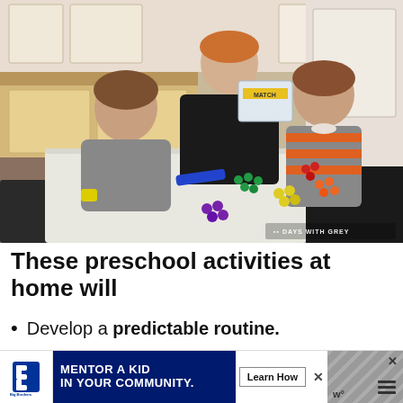[Figure (photo): A woman and two young boys sit at a white table indoors in a kitchen, playing with colorful connector toys/blocks arranged in rows by color (blue, green, yellow, purple, orange, red). The woman holds a box of 'Match' cards. Credit: Days With Grey.]
These preschool activities at home will
Develop a predictable routine.
[Figure (other): Advertisement banner: Big Brothers Big Sisters of America logo, text 'MENTOR A KID IN YOUR COMMUNITY.' with a 'Learn How' button, and decorative icons on the right side.]